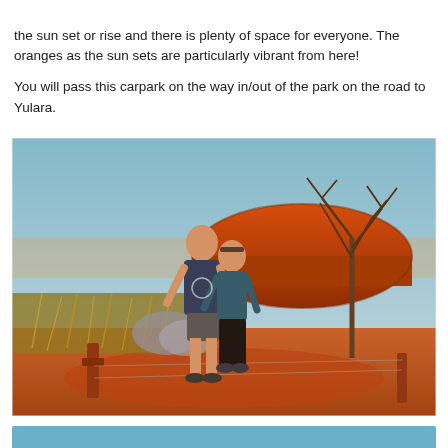the sun set or rise and there is plenty of space for everyone. The oranges as the sun sets are particularly vibrant from here!

You will pass this carpark on the way in/out of the park on the road to Yulara.
[Figure (photo): A couple standing in front of Uluru (Ayers Rock) at sunset. The rock glows deep orange in the background. There is dry grass, scrubby bushes, and a bare tree to the right. The foreground shows red sandy soil and a fence post. Clear blue sky above.]